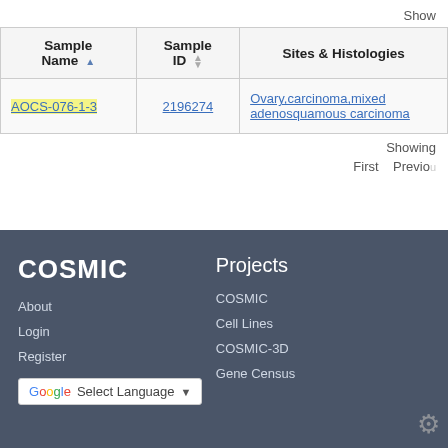Show
| Sample Name | Sample ID | Sites & Histologies |
| --- | --- | --- |
| AOCS-076-1-3 | 2196274 | Ovary,carcinoma,mixed adenosquamous carcinoma |
Showing
First  Previous
COSMIC  About  Login  Register  Select Language  Projects  COSMIC  Cell Lines  COSMIC-3D  Gene Census